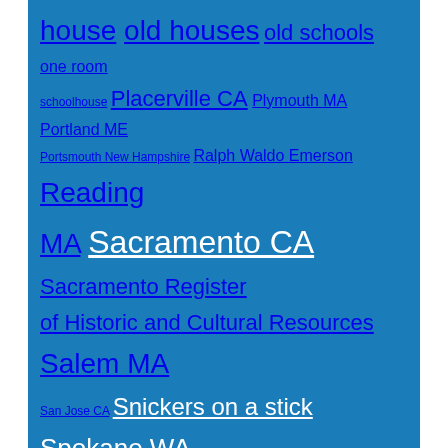house old houses old schools one room schoolhouse Placerville CA Plymouth MA Portland ME Portsmouth New Hampshire Ralph Waldo Emerson Reading MA Sacramento CA Sacramento Register of Historic and Cultural Resources Salem MA San Jose CA Snickers on a stick Spokane WA Sudbury MA Sutter Creek CA Vacaville CA Wakefield MA walkies through history. Woodland CA
Website Built with WordPress.com.